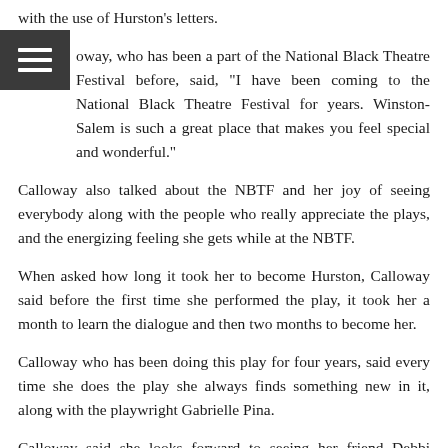with the use of Hurston's letters.
[Figure (other): Hamburger menu icon (three horizontal lines on dark background)]
oway, who has been a part of the National Black Theatre Festival before, said, “I have been coming to the National Black Theatre Festival for years. Winston-Salem is such a great place that makes you feel special and wonderful.”
Calloway also talked about the NBTF and her joy of seeing everybody along with the people who really appreciate the plays, and the energizing feeling she gets while at the NBTF.
When asked how long it took her to become Hurston, Calloway said before the first time she performed the play, it took her a month to learn the dialogue and then two months to become her.
Calloway who has been doing this play for four years, said every time she does the play she always finds something new in it, along with the playwright Gabrielle Pina.
Calloway said she looks forward to seeing her friend Debbi Morgan’s one-woman show “The Monkey on My Back!” along with Rain Pryor’s play “Fried Chicken and Latkes” that will both be performed on Thursday, Aug. 6.